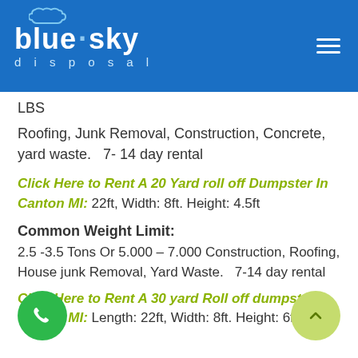blue sky disposal
LBS
Roofing, Junk Removal, Construction, Concrete, yard waste.   7- 14 day rental
Click Here to Rent A 20 Yard roll off Dumpster In Canton MI: 22ft, Width: 8ft. Height: 4.5ft
Common Weight Limit:
2.5 -3.5 Tons Or 5.000 – 7.000 Construction, Roofing, House junk Removal, Yard Waste.   7-14 day rental
Click Here to Rent A 30 yard Roll off dumpster In Canton MI: Length: 22ft, Width: 8ft. Height: 6ft